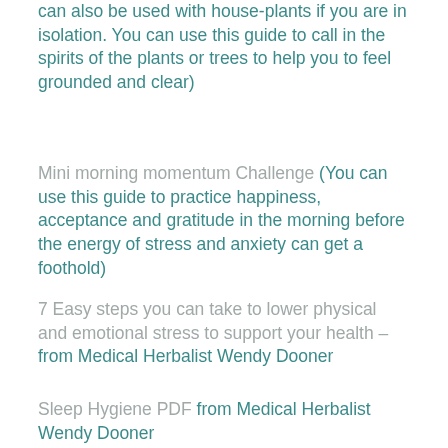can also be used with house-plants if you are in isolation. You can use this guide to call in the spirits of the plants or trees to help you to feel grounded and clear)
Mini morning momentum Challenge (You can use this guide to practice happiness, acceptance and gratitude in the morning before the energy of stress and anxiety can get a foothold)
7 Easy steps you can take to lower physical and emotional stress to support your health – from Medical Herbalist Wendy Dooner
Sleep Hygiene PDF from Medical Herbalist Wendy Dooner